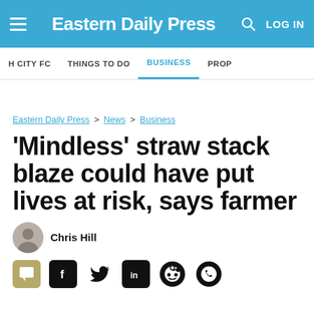Eastern Daily Press — LOG IN
H CITY FC  THINGS TO DO  BUSINESS  PROP
Eastern Daily Press > News > Business
'Mindless' straw stack blaze could have put lives at risk, says farmer
Chris Hill
[Figure (other): Social sharing icons: comment, Facebook, Twitter, LinkedIn, Reddit, WhatsApp]